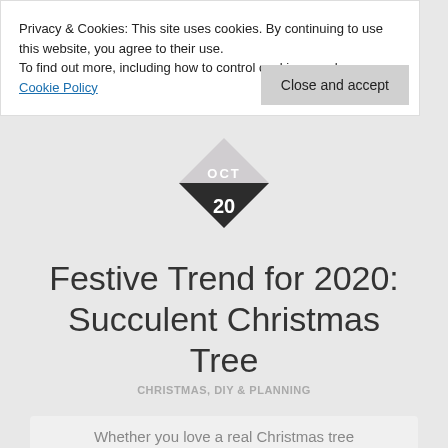Privacy & Cookies: This site uses cookies. By continuing to use this website, you agree to their use. To find out more, including how to control cookies, see here: Cookie Policy
Close and accept
[Figure (other): Diamond shaped date badge with OCT on top half and 20 on dark bottom half]
Festive Trend for 2020: Succulent Christmas Tree
CHRISTMAS, DIY & PLANNING
Whether you love a real Christmas tree